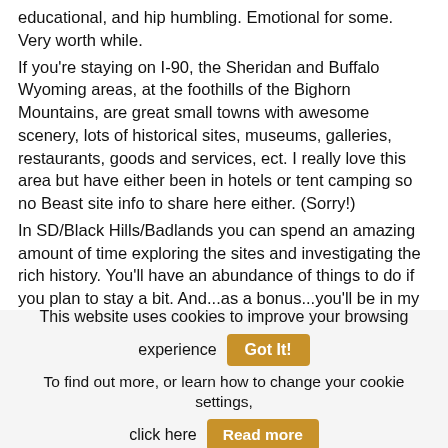educational, and hip humbling. Emotional for some. Very worth while.
If you're staying on I-90, the Sheridan and Buffalo Wyoming areas, at the foothills of the Bighorn Mountains, are great small towns with awesome scenery, lots of historical sites, museums, galleries, restaurants, goods and services, ect. I really love this area but have either been in hotels or tent camping so no Beast site info to share here either. (Sorry!)
In SD/Black Hills/Badlands you can spend an amazing amount of time exploring the sites and investigating the rich history. You'll have an abundance of things to do if you plan to stay a bit. And...as a bonus...you'll be in my childhood home state! lol...
This website uses cookies to improve your browsing experience  Got It!
To find out more, or learn how to change your cookie settings, click here  Read more